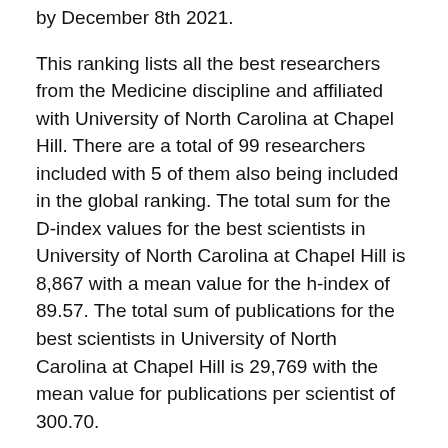by December 8th 2021.
This ranking lists all the best researchers from the Medicine discipline and affiliated with University of North Carolina at Chapel Hill. There are a total of 99 researchers included with 5 of them also being included in the global ranking. The total sum for the D-index values for the best scientists in University of North Carolina at Chapel Hill is 8,867 with a mean value for the h-index of 89.57. The total sum of publications for the best scientists in University of North Carolina at Chapel Hill is 29,769 with the mean value for publications per scientist of 300.70.
[Figure (screenshot): Search bar with placeholder text 'Search by name' and a teal search button with magnifying glass icon]
[Figure (screenshot): Sort dropdown labeled 'Sort by World Position' with a chevron/arrow pointing down]